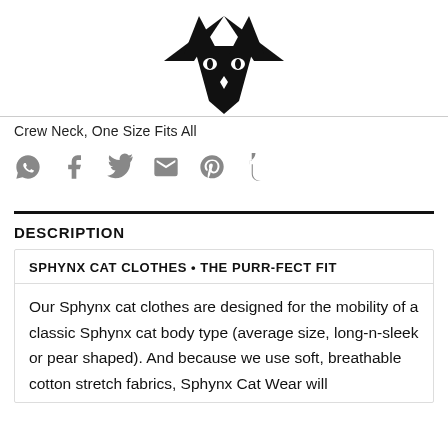[Figure (logo): Black cat face logo — angular/geometric cat face with pointed ears and wing-like shapes, rendered in solid black]
Crew Neck, One Size Fits All
[Figure (other): Row of social media sharing icons: WhatsApp, Facebook, Twitter, Email, Pinterest, Tumblr — all in grey]
DESCRIPTION
SPHYNX CAT CLOTHES • THE PURR-FECT FIT
Our Sphynx cat clothes are designed for the mobility of a classic Sphynx cat body type (average size, long-n-sleek or pear shaped). And because we use soft, breathable cotton stretch fabrics, Sphynx Cat Wear will